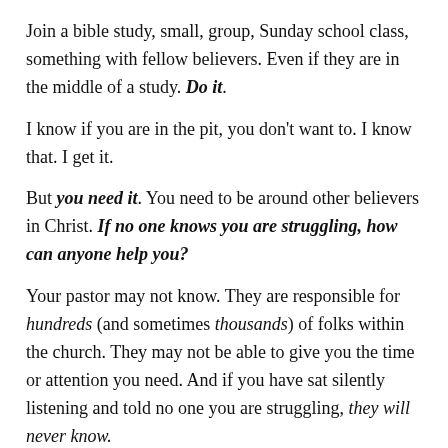Join a bible study, small, group, Sunday school class, something with fellow believers. Even if they are in the middle of a study. Do it.
I know if you are in the pit, you don't want to. I know that. I get it.
But you need it. You need to be around other believers in Christ. If no one knows you are struggling, how can anyone help you?
Your pastor may not know. They are responsible for hundreds (and sometimes thousands) of folks within the church. They may not be able to give you the time or attention you need. And if you have sat silently listening and told no one you are struggling, they will never know.
We're not mind readers in the body of Christ. Everyone of us wants to be missed when we don't show up for church. We want folks to notice us. We want them to SEE that we look down or sad. And, yes. The body has some responsibility to notice and pay attention to